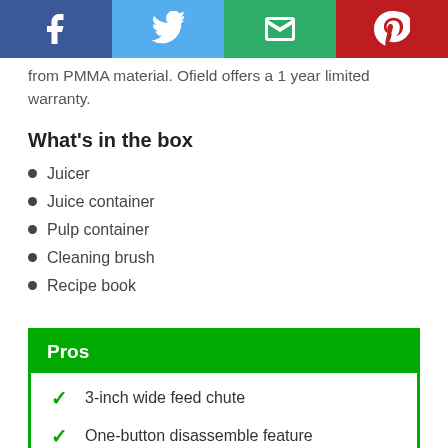[Figure (infographic): Social sharing bar with Facebook, Twitter, Email, and Pinterest buttons]
from PMMA material. Ofield offers a 1 year limited warranty.
What's in the box
Juicer
Juice container
Pulp container
Cleaning brush
Recipe book
Pros
3-inch wide feed chute
One-button disassemble feature
Lightweight